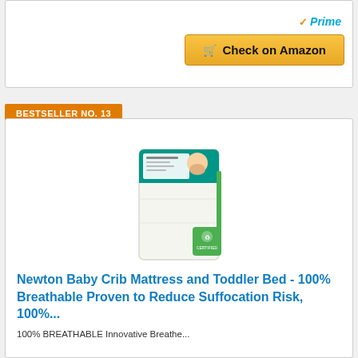[Figure (other): Amazon Prime badge with orange checkmark and blue italic 'Prime' text]
[Figure (other): Yellow 'Check on Amazon' button with shopping cart icon]
BESTSELLER NO. 13
[Figure (photo): Newton Baby Crib Mattress product photo - white rectangular mattress with branded packaging label on top and green certification badge on side]
Newton Baby Crib Mattress and Toddler Bed - 100% Breathable Proven to Reduce Suffocation Risk, 100%...
100% BREATHABLE Innovative Breathe...